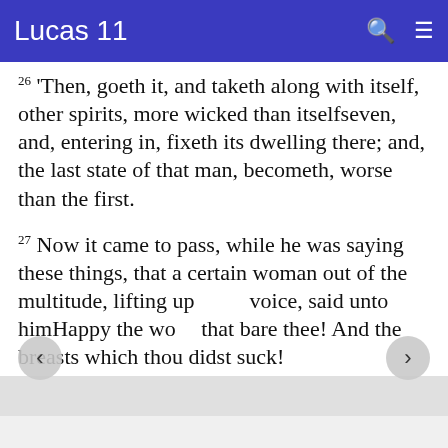Lucas 11
26 'Then, goeth it, and taketh along with itself, other spirits, more wicked than itselfseven, and, entering in, fixeth its dwelling there; and, the last state of that man, becometh, worse than the first.
27 Now it came to pass, while he was saying these things, that a certain woman out of the multitude, lifting up her voice, said unto himHappy the womb that bare thee! And the breasts which thou didst suck!